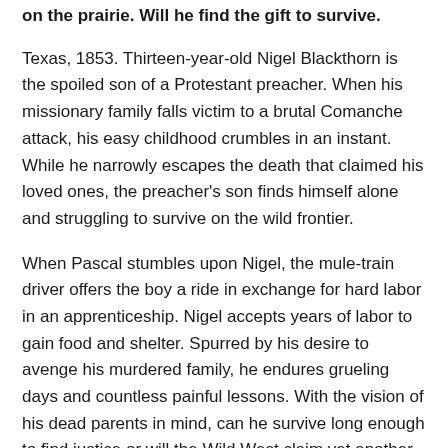on the prairie. Will he find the gift to survive.
Texas, 1853. Thirteen-year-old Nigel Blackthorn is the spoiled son of a Protestant preacher. When his missionary family falls victim to a brutal Comanche attack, his easy childhood crumbles in an instant. While he narrowly escapes the death that claimed his loved ones, the preacher's son finds himself alone and struggling to survive on the wild frontier.
When Pascal stumbles upon Nigel, the mule-train driver offers the boy a ride in exchange for hard labor in an apprenticeship. Nigel accepts years of labor to gain food and shelter. Spurred by his desire to avenge his murdered family, he endures grueling days and countless painful lessons. With the vision of his dead parents in mind, can he survive long enough to find justice or will the Wild West claim yet another victim?